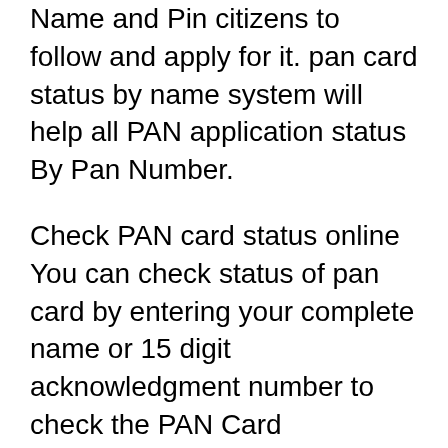Name and Pin citizens to follow and apply for it. pan card status by name system will help all PAN application status By Pan Number.
Check PAN card status online You can check status of pan card by entering your complete name or 15 digit acknowledgment number to check the PAN Card Application Pan card status by name and date of birth :Permanent Account Number is known as PAN card which has 10 digit-alpha numeric number вЂ¦
Track your PAN/TAN Application Status. ACKNOWLEDGEMENT NUMBER * NAME: Applicant should search for the status of